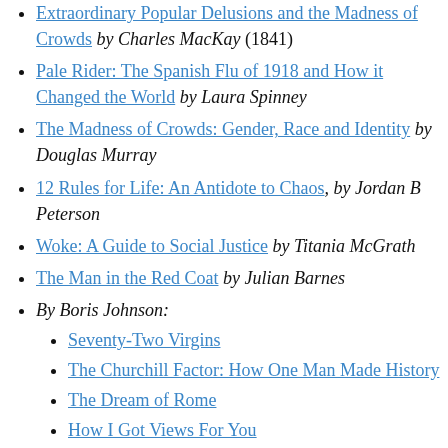Extraordinary Popular Delusions and the Madness of Crowds by Charles MacKay (1841)
Pale Rider: The Spanish Flu of 1918 and How it Changed the World by Laura Spinney
The Madness of Crowds: Gender, Race and Identity by Douglas Murray
12 Rules for Life: An Antidote to Chaos, by Jordan B Peterson
Woke: A Guide to Social Justice by Titania McGrath
The Man in the Red Coat by Julian Barnes
By Boris Johnson:
Seventy-Two Virgins
The Churchill Factor: How One Man Made History
The Dream of Rome
How I Got Views For You